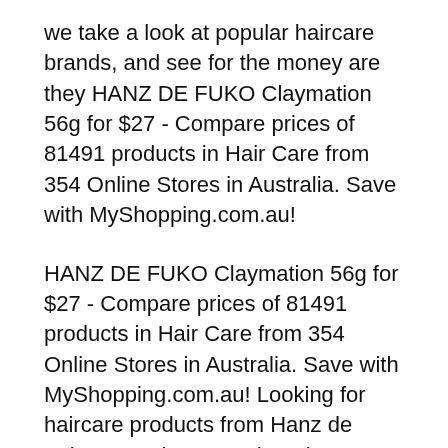we take a look at popular haircare brands, and see for the money are they HANZ DE FUKO Claymation 56g for $27 - Compare prices of 81491 products in Hair Care from 354 Online Stores in Australia. Save with MyShopping.com.au!
HANZ DE FUKO Claymation 56g for $27 - Compare prices of 81491 products in Hair Care from 354 Online Stores in Australia. Save with MyShopping.com.au! Looking for haircare products from Hanz de Fuko? Buy the Hanz de Fuko Claymation 56g online today. Get free delivery over $50 Australia-wide.
The holy grail of Hanz de Fuko Hanz De Fuko Products Review (Claymation, Quicksand, Sponge Another thing with Claymation, and